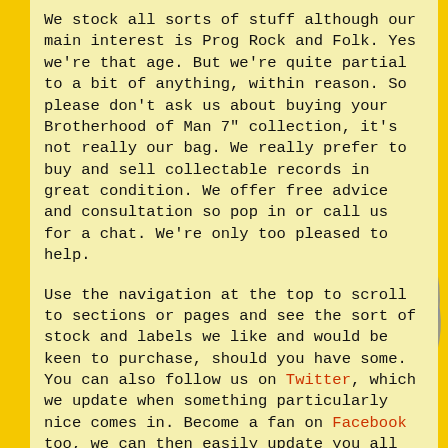[Figure (illustration): Gray silhouette of a lion rampant on a yellow background, serving as a decorative background element]
We stock all sorts of stuff although our main interest is Prog Rock and Folk. Yes we're that age. But we're quite partial to a bit of anything, within reason. So please don't ask us about buying your Brotherhood of Man 7" collection, it's not really our bag. We really prefer to buy and sell collectable records in great condition. We offer free advice and consultation so pop in or call us for a chat. We're only too pleased to help.
Use the navigation at the top to scroll to sections or pages and see the sort of stock and labels we like and would be keen to purchase, should you have some. You can also follow us on Twitter, which we update when something particularly nice comes in. Become a fan on Facebook too, we can then easily update you all with any offers we might consider doing.
And remember, If you are thinking of selling your